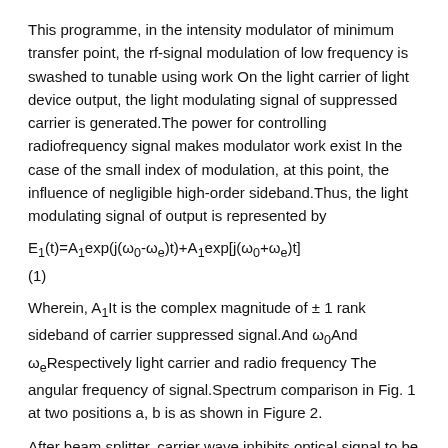This programme, in the intensity modulator of minimum transfer point, the rf-signal modulation of low frequency is swashed to tunable using work On the light carrier of light device output, the light modulating signal of suppressed carrier is generated.The power for controlling radiofrequency signal makes modulator work exist In the case of the small index of modulation, at this point, the influence of negligible high-order sideband.Thus, the light modulating signal of output is represented by
(1)
Wherein, A₁It is the complex magnitude of ± 1 rank sideband of carrier suppressed signal.And ω₀And ωeRespectively light carrier and radio frequency The angular frequency of signal.Spectrum comparison in Fig. 1 at two positions a, b is as shown in Figure 2.
After beam splitter, carrier wave inhibits optical signal to be divided into test road and reference arm, and test road is inputting device to be measured Optical signal before part